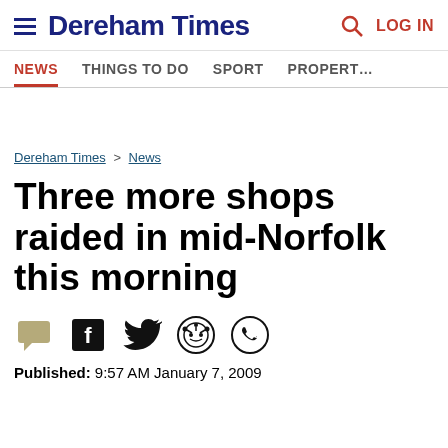Dereham Times — LOG IN
NEWS  THINGS TO DO  SPORT  PROPERTY
Dereham Times > News
Three more shops raided in mid-Norfolk this morning
Published: 9:57 AM January 7, 2009